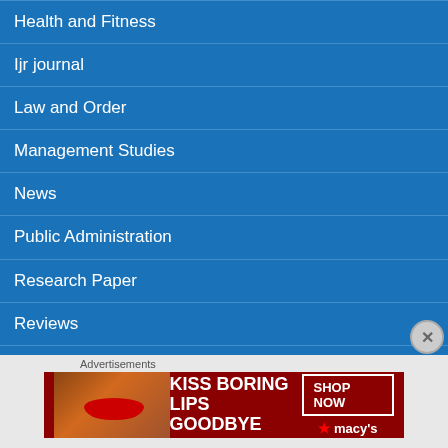Health and Fitness
Ijr journal
Law and Order
Management Studies
News
Public Administration
Research Paper
Reviews
Science and Technology
Skill Develpment
Advertisements
[Figure (other): Macy's advertisement banner: KISS BORING LIPS GOODBYE with SHOP NOW button and Macy's star logo]